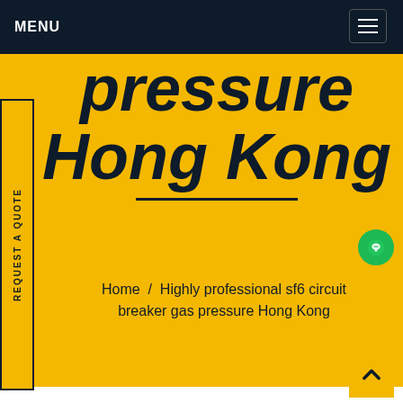MENU
pressure Hong Kong
Home / Highly professional sf6 circuit breaker gas pressure Hong Kong
[Figure (other): Side tab with vertical text 'REQUEST A QUOTE' on yellow background with dark border]
[Figure (other): Green circular chat/message button]
[Figure (other): Yellow back-to-top button with upward chevron arrow]